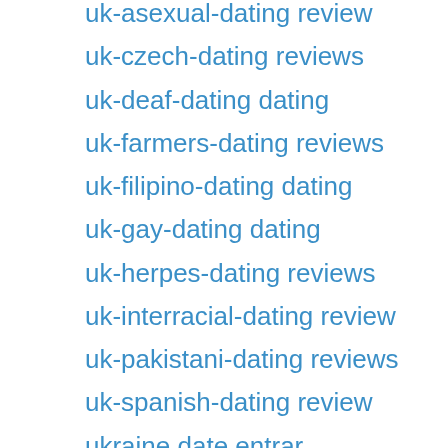uk-asexual-dating review
uk-czech-dating reviews
uk-deaf-dating dating
uk-farmers-dating reviews
uk-filipino-dating dating
uk-gay-dating dating
uk-herpes-dating reviews
uk-interracial-dating review
uk-pakistani-dating reviews
uk-spanish-dating review
ukraine date entrar
ukraine date reviews
ukraine-dating mobile site
ukrainian brides
Uncategorized